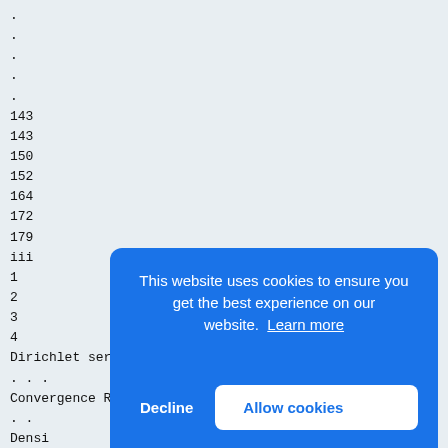.
.
.
.
.
143
143
150
152
164
172
179
iii
1
2
3
4
Dirichlet series and Euler products . . . . . . . . . . . . . .
Convergence Results . . . . . . . . . . . . . . . . . . .
Density of the Prime Ideal Solutions in Extensions
. .
Density
Prog
.
.
.
.
.
.
.
.
.
This website uses cookies to ensure you get the best experience on our website. Learn more
Decline | Allow cookies